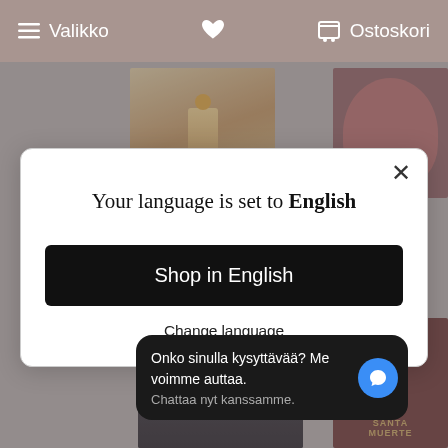Valikko   [heart]   Ostoskori
[Figure (screenshot): E-commerce website screenshot showing a language selection modal dialog over a product grid. The modal says 'Your language is set to English' with a 'Shop in English' button and 'Change language' link. Below the modal is a chat widget in Finnish: 'Onko sinulla kysyttävää? Me voimme auttaa. Chattaa nyt kanssamme.']
Your language is set to English
Shop in English
Change language
Onko sinulla kysyttävää? Me voimme auttaa.
Chattaa nyt kanssamme.